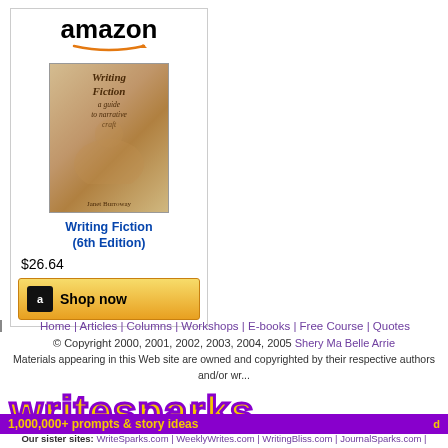[Figure (screenshot): Amazon product listing for 'Writing Fiction (6th Edition)' showing amazon logo, book cover image, price $26.64, and Shop now button]
Home | Articles | Columns | Workshops | E-books | Free Course | Quotes
© Copyright 2000, 2001, 2002, 2003, 2004, 2005 Shery Ma Belle Arrie
Materials appearing in this Web site are owned and copyrighted by their respective authors and/or wr... website may be reproduced without consent from its owner. Original site design by Shery Ru...
[Figure (logo): WriteSparks logo in yellow with purple outline]
1,000,000+ prompts & story ideas
Our sister sites: WriteSparks.com | WeeklyWrites.com | WritingBliss.com | JournalSparks.com | WritersOnThe.net | Hosting4Writers.com | Writers Web Designs | blog.forwriters.org | Aspiring... EbookPizzazz.com | EmailWorkshopsHowTo.com | Writing-Portal.com | iM...